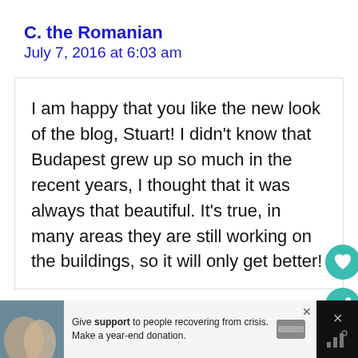C. the Romanian
July 7, 2016 at 6:03 am
I am happy that you like the new look of the blog, Stuart! I didn't know that Budapest grew up so much in the recent years, I thought that it was always that beautiful. It's true, in many areas they are still working on the buildings, so it will only get better!
Give support to people recovering from crisis. Make a year-end donation.